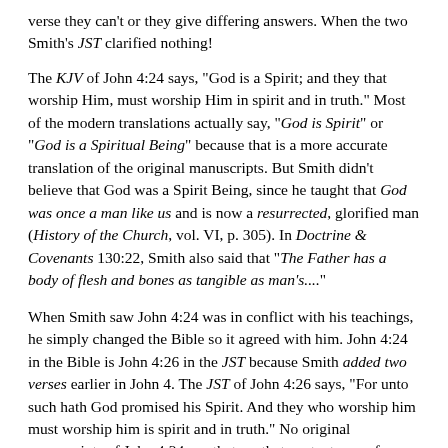verse they can't or they give differing answers. When the two Smith's JST clarified nothing!
The KJV of John 4:24 says, "God is a Spirit; and they that worship Him, must worship Him in spirit and in truth." Most of the modern translations actually say, "God is Spirit" or "God is a Spiritual Being" because that is a more accurate translation of the original manuscripts. But Smith didn't believe that God was a Spirit Being, since he taught that God was once a man like us and is now a resurrected, glorified man (History of the Church, vol. VI, p. 305). In Doctrine & Covenants 130:22, Smith also said that "The Father has a body of flesh and bones as tangible as man's...."
When Smith saw John 4:24 was in conflict with his teachings, he simply changed the Bible so it agreed with him. John 4:24 in the Bible is John 4:26 in the JST because Smith added two verses earlier in John 4. The JST of John 4:26 says, "For unto such hath God promised his Spirit. And they who worship him must worship him is spirit and in truth." No original manuscripts of John 4:24 say that, so that content came from Smith.
Furthermore, the Bible says that God is invisible in Colossians 1:15, 1 Timothy 1:17 and Hebrews 11:27. And those verses are exactly the same in the JST as they are in the KJV! The Bible also